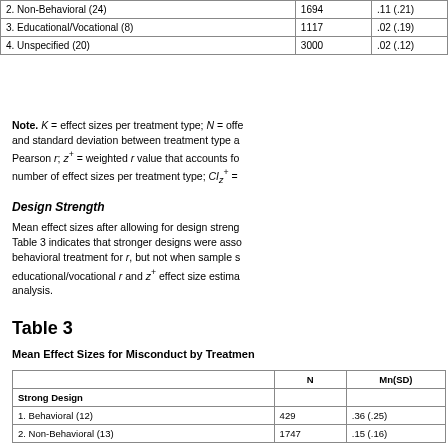|  | N | Mn(SD) |
| --- | --- | --- |
| 2. Non-Behavioral (24) | 1694 | .11 (.21) |
| 3. Educational/Vocational (8) | 1117 | .02 (.19) |
| 4. Unspecified (20) | 3000 | .02 (.12) |
Note. K = effect sizes per treatment type; N = offe and standard deviation between treatment type a Pearson r; z+ = weighted r value that accounts fo number of effect sizes per treatment type; CIz+ =
Design Strength
Mean effect sizes after allowing for design streng Table 3 indicates that stronger designs were asso behavioral treatment for r, but not when sample s educational/vocational r and z+ effect size estima analysis.
Table 3
Mean Effect Sizes for Misconduct by Treatmen
|  | N | Mn(SD) |
| --- | --- | --- |
| Strong Design |  |  |
| 1. Behavioral (12) | 429 | .36 (.25) |
| 2. Non-Behavioral (13) | 1747 | .15 (.16) |